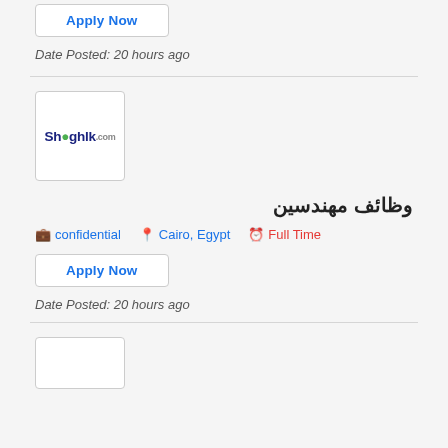Apply Now
Date Posted: 20 hours ago
[Figure (logo): Shaghlk.com company logo in a white bordered box]
وظائف مهندسين
confidential  Cairo, Egypt  Full Time
Apply Now
Date Posted: 20 hours ago